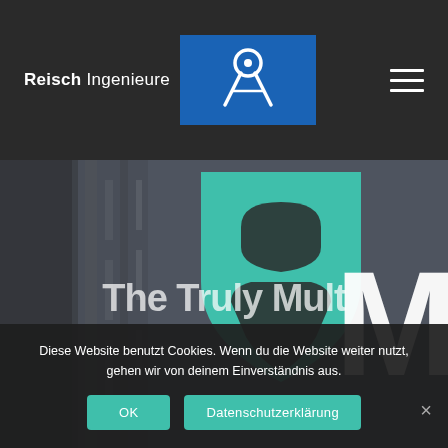[Figure (logo): Reisch Ingenieure logo: white text 'Reisch Ingenieure' with blue rectangle containing white compass/drafting instrument icon]
[Figure (screenshot): Website screenshot showing header with Reisch Ingenieure logo, hamburger menu icon, hero image with teal shield/face logo and partial large white letter M, partial hero text 'The Truly Mul', and a cookie consent banner at the bottom with OK and Datenschutzerklärung buttons]
Diese Website benutzt Cookies. Wenn du die Website weiter nutzt, gehen wir von deinem Einverständnis aus.